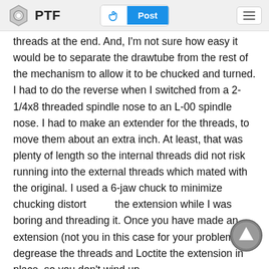PTF | Post
threads at the end. And, I'm not sure how easy it would be to separate the drawtube from the rest of the mechanism to allow it to be chucked and turned. I had to do the reverse when I switched from a 2-1/4x8 threaded spindle nose to an L-00 spindle nose. I had to make an extender for the threads, to move them about an extra inch. At least, that was plenty of length so the internal threads did not risk running into the external threads which mated with the original. I used a 6-jaw chuck to minimize chucking distortion of the extension while I was boring and threading it. Once you have made an extension (not you in this case for your problem), degrease the threads and Loctite the extension in place, so you don't wind up